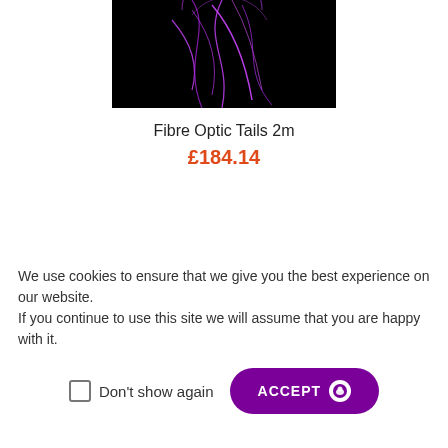[Figure (photo): Dark background with purple fiber optic light trails — product image for Fibre Optic Tails 2m]
Fibre Optic Tails 2m
£184.14
[Figure (photo): A spiral-bound notebook on a wooden surface with handwritten notes, partially held by a hand with a green pencil]
We use cookies to ensure that we give you the best experience on our website. If you continue to use this site we will assume that you are happy with it.
Don't show again
ACCEPT